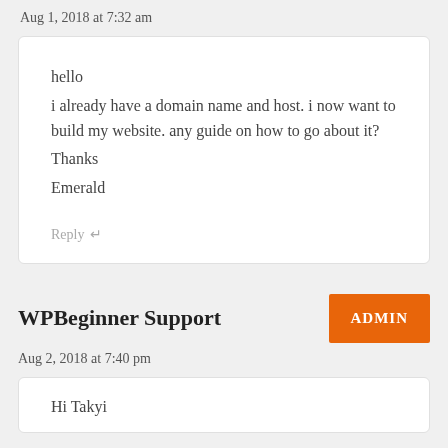Aug 1, 2018 at 7:32 am
hello
i already have a domain name and host. i now want to build my website. any guide on how to go about it?
Thanks
Emerald
Reply ↵
WPBeginner Support
ADMIN
Aug 2, 2018 at 7:40 pm
Hi Takyi